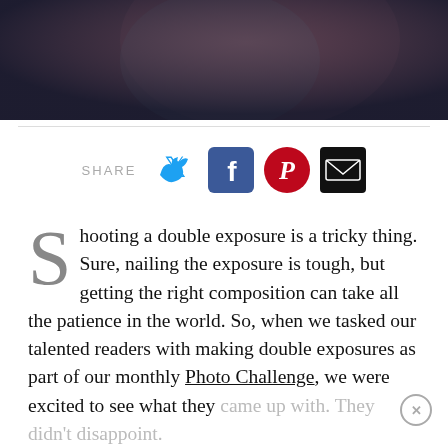[Figure (photo): Dark moody photograph of a person, double exposure style, with teal and dark tones]
SHARE [Twitter] [Facebook] [Pinterest] [Email]
Shooting a double exposure is a tricky thing. Sure, nailing the exposure is tough, but getting the right composition can take all the patience in the world. So, when we tasked our talented readers with making double exposures as part of our monthly Photo Challenge, we were excited to see what they came up with. They didn't disappoint.